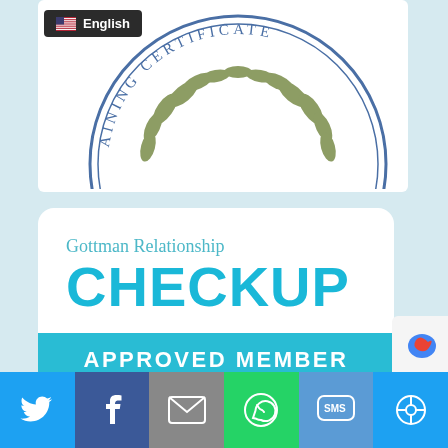[Figure (logo): Training Certificate circular seal/logo with laurel wreath, showing partial text 'AINING CERTIFICATE']
English
[Figure (logo): Gottman Relationship Checkup Approved Member badge - white card with teal text and blue approved member bar]
[Figure (screenshot): Social share bar with Twitter, Facebook, Email, WhatsApp, SMS, and other share buttons]